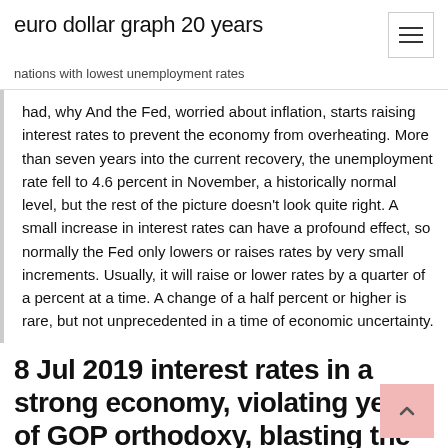euro dollar graph 20 years
nations with lowest unemployment rates
had, why And the Fed, worried about inflation, starts raising interest rates to prevent the economy from overheating. More than seven years into the current recovery, the unemployment rate fell to 4.6 percent in November, a historically normal level, but the rest of the picture doesn't look quite right. A small increase in interest rates can have a profound effect, so normally the Fed only lowers or raises rates by very small increments. Usually, it will raise or lower rates by a quarter of a percent at a time. A change of a half percent or higher is rare, but not unprecedented in a time of economic uncertainty.
8 Jul 2019 interest rates in a strong economy, violating years of GOP orthodoxy, blasting the